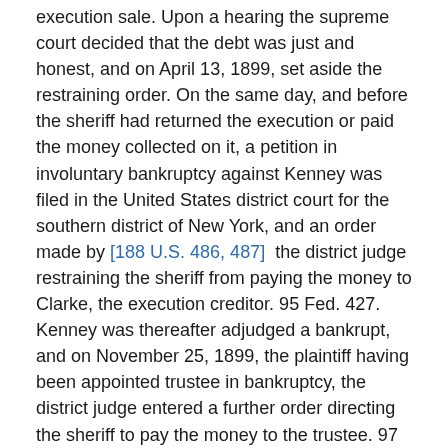execution sale. Upon a hearing the supreme court decided that the debt was just and honest, and on April 13, 1899, set aside the restraining order. On the same day, and before the sheriff had returned the execution or paid the money collected on it, a petition in involuntary bankruptcy against Kenney was filed in the United States district court for the southern district of New York, and an order made by [188 U.S. 486, 487]  the district judge restraining the sheriff from paying the money to Clarke, the execution creditor. 95 Fed. 427. Kenney was thereafter adjudged a bankrupt, and on November 25, 1899, the plaintiff having been appointed trustee in bankruptcy, the district judge entered a further order directing the sheriff to pay the money to the trustee. 97 Fed. 555. On review, the United States circuit court of appeals for the second circuit affirmed these ordes of the district judge (45 C. C. A. 113, 105 Fed. 897), and thereupon a certiorari was granted by this court. 180 U.S. 640 , 45 L. ed. 711, 21 Sup. Ct. Rep. 927.